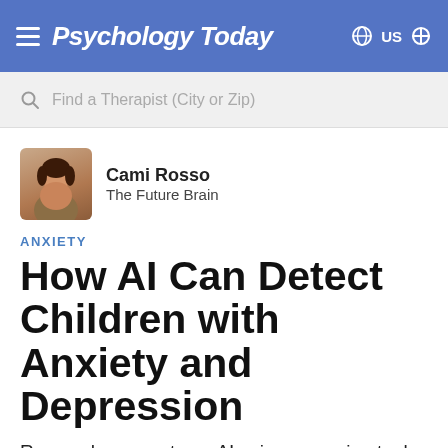Psychology Today
Find a Therapist (City or Zip)
[Figure (photo): Author photo of Cami Rosso, a woman with dark hair, smiling, wearing a gold necklace]
Cami Rosso
The Future Brain
ANXIETY
How AI Can Detect Children with Anxiety and Depression
Researchers create an AI voice screening tool for children.